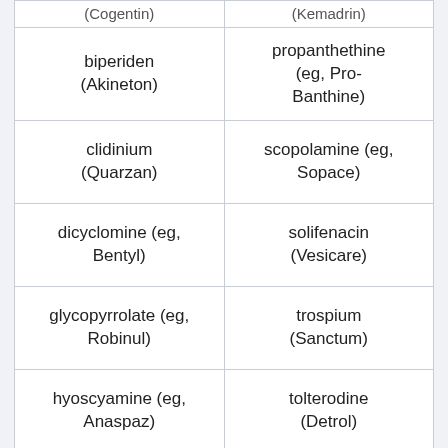| (Cogentin) | (Kemadrin) |
| biperiden (Akineton) | propanthethine (eg, Pro-Banthine) |
| clidinium (Quarzan) | scopolamine (eg, Sopace) |
| dicyclomine (eg, Bentyl) | solifenacin (Vesicare) |
| glycopyrrolate (eg, Robinul) | trospium (Sanctum) |
| hyoscyamine (eg, Anaspaz) | tolterodine (Detrol) |
| mepenzolate (Cantil) | trihexyphenidyl (Artane) |